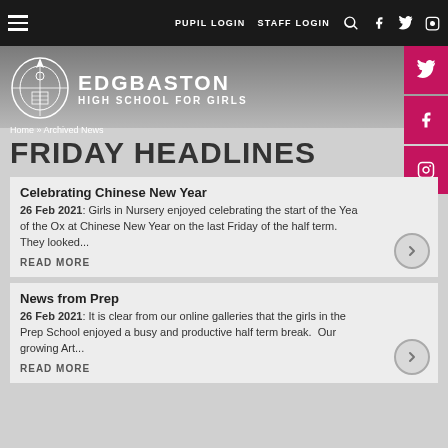PUPIL LOGIN  STAFF LOGIN
[Figure (logo): Edgbaston High School for Girls crest and logotype]
Home » Archived News
FRIDAY HEADLINES
Celebrating Chinese New Year
26 Feb 2021: Girls in Nursery enjoyed celebrating the start of the Year of the Ox at Chinese New Year on the last Friday of the half term. They looked...
READ MORE
News from Prep
26 Feb 2021: It is clear from our online galleries that the girls in the Prep School enjoyed a busy and productive half term break.  Our growing Art...
READ MORE